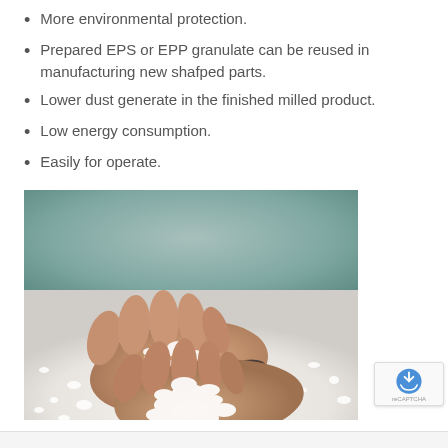More environmental protection.
Prepared EPS or EPP granulate can be reused in manufacturing new shafped parts.
Lower dust generate in the finished milled product.
Low energy consumption.
Easily for operate.
[Figure (photo): A hand holding white EPS/EPP granulate material against a white granule background, with person wearing a dark wristband.]
Privacy · Terms